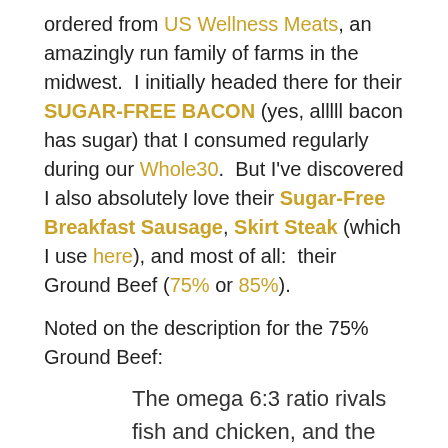ordered from US Wellness Meats, an amazingly run family of farms in the midwest.  I initially headed there for their SUGAR-FREE BACON (yes, alllll bacon has sugar) that I consumed regularly during our Whole30.  But I've discovered I also absolutely love their Sugar-Free Breakfast Sausage, Skirt Steak (which I use here), and most of all:  their Ground Beef (75% or 85%).
Noted on the description for the 75% Ground Beef:
The omega 6:3 ratio rivals fish and chicken, and the CLA levels will be higher compared to the 85% lean burger.
All of our beef products are